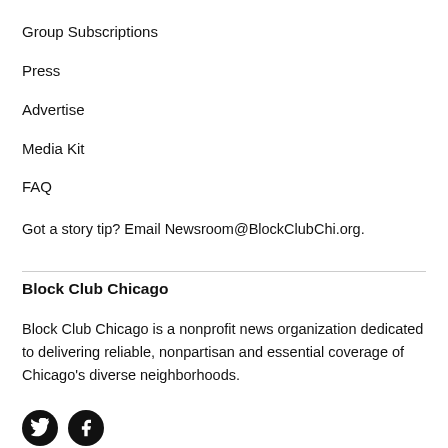Group Subscriptions
Press
Advertise
Media Kit
FAQ
Got a story tip? Email Newsroom@BlockClubChi.org.
Block Club Chicago
Block Club Chicago is a nonprofit news organization dedicated to delivering reliable, nonpartisan and essential coverage of Chicago's diverse neighborhoods.
[Figure (illustration): Two circular social media icons (Twitter bird and Facebook f) on black circles]